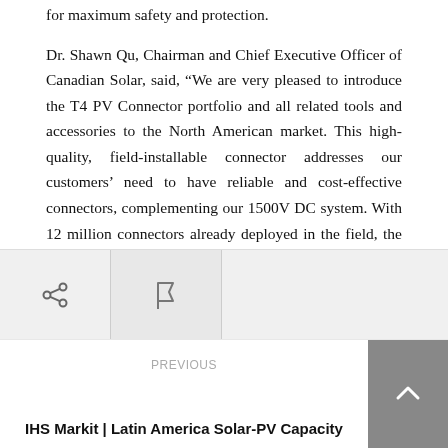for maximum safety and protection.
Dr. Shawn Qu, Chairman and Chief Executive Officer of Canadian Solar, said, “We are very pleased to introduce the T4 PV Connector portfolio and all related tools and accessories to the North American market. This high-quality, field-installable connector addresses our customers’ need to have reliable and cost-effective connectors, complementing our 1500V DC system. With 12 million connectors already deployed in the field, the T4 PV Connector has proven itself as a reliable milestone further reducing overall PV system costs.”
Source: PRN
PREVIOUS
IHS Markit | Latin America Solar-PV Capacity